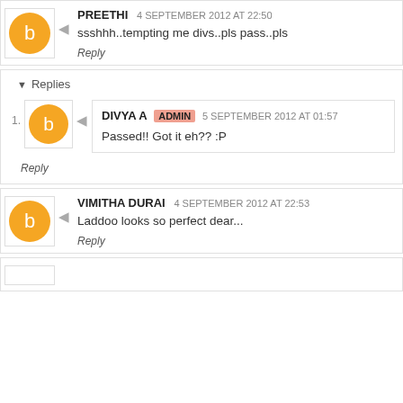PREETHI  4 SEPTEMBER 2012 AT 22:50
ssshhh..tempting me divs..pls pass..pls
Reply
Replies
DIVYA A  ADMIN  5 SEPTEMBER 2012 AT 01:57
Passed!! Got it eh?? :P
Reply
VIMITHA DURAI  4 SEPTEMBER 2012 AT 22:53
Laddoo looks so perfect dear...
Reply